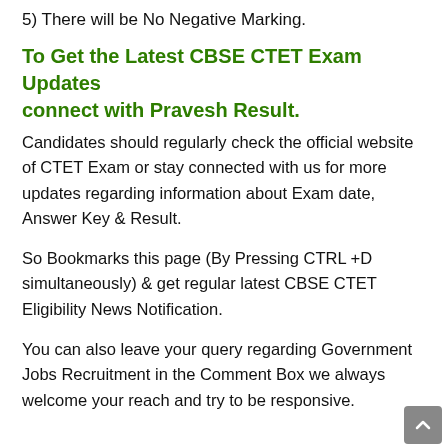5) There will be No Negative Marking.
To Get the Latest CBSE CTET Exam Updates connect with Pravesh Result.
Candidates should regularly check the official website of CTET Exam or stay connected with us for more updates regarding information about Exam date, Answer Key & Result.
So Bookmarks this page (By Pressing CTRL +D simultaneously) & get regular latest CBSE CTET Eligibility News Notification.
You can also leave your query regarding Government Jobs Recruitment in the Comment Box we always welcome your reach and try to be responsive.